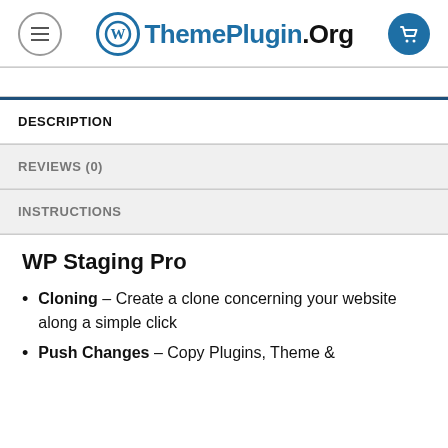ThemePlugin.Org
DESCRIPTION
REVIEWS (0)
INSTRUCTIONS
WP Staging Pro
Cloning – Create a clone concerning your website along a simple click
Push Changes – Copy Plugins, Theme &